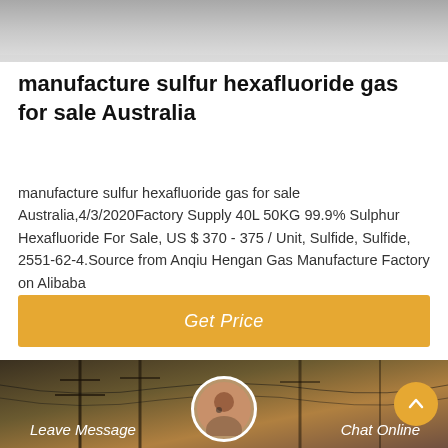[Figure (photo): Top image showing a grayish surface, partially cropped at the top of the page]
manufacture sulfur hexafluoride gas for sale Australia
manufacture sulfur hexafluoride gas for sale Australia,4/3/2020Factory Supply 40L 50KG 99.9% Sulphur Hexafluoride For Sale, US $ 370 - 375 / Unit, Sulfide, Sulfide, 2551-62-4.Source from Anqiu Hengan Gas Manufacture Factory on Alibaba
[Figure (other): Orange/yellow Get Price button]
[Figure (photo): Bottom banner image showing electrical power pylons at dusk with orange sky, featuring Leave Message and Chat Online buttons and a customer service avatar]
Leave Message
Chat Online